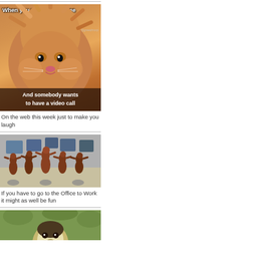[Figure (photo): Meme image of a fluffy orange Persian cat with wild messy fur, text overlay reading 'When you work from home' at top and 'And somebody wants to have a video call' at bottom]
On the web this week just to make you laugh
[Figure (photo): Photo of multiple T-Rex dinosaur toy figurines positioned at office desks with computers, suggesting they are working in an office]
If you have to go to the Office to Work it might as well be fun
[Figure (photo): Partial image of a white-faced small monkey or primate looking at the camera, cut off at bottom of page]